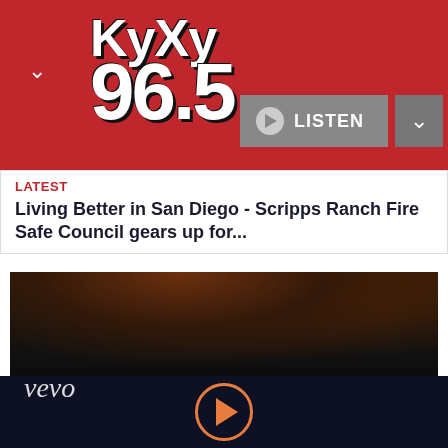[Figure (logo): KyXy 96.5 radio station logo in white bold text on red background with LISTEN button and navigation chevrons]
LATEST
Living Better in San Diego - Scripps Ranch Fire Safe Council gears up for...
[Figure (screenshot): Vevo music video thumbnail showing dark animated scene with vevo watermark]
Apparently, Malone got the gig at Bonnaroo nearly two years ago. Akiva Schaffer, who directed the new movie, met the GRAMMY-nominated artist